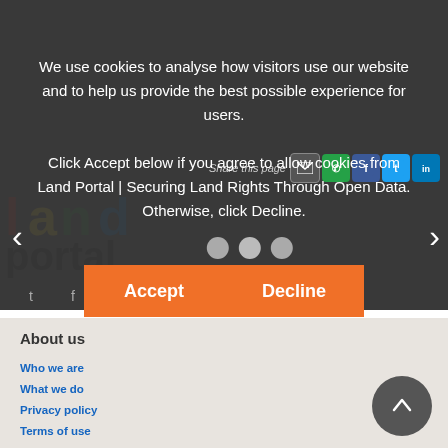We use cookies to analyse how visitors use our website and to help us provide the best possible experience for users.
Click Accept below if you agree to allow cookies from Land Portal | Securing Land Rights Through Open Data. Otherwise, click Decline.
[Figure (screenshot): Cookie consent overlay on Land Portal website with Accept and Decline buttons]
About us
Who we are
What we do
Privacy policy
Terms of use
Contact us